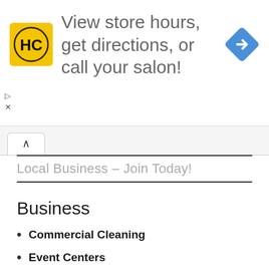[Figure (other): Advertisement banner: HC logo (yellow background with 'HC' text) and navigation diamond icon. Text reads 'View store hours, get directions, or call your salon!']
Local Business – Join Today!
Business
Commercial Cleaning
Event Centers
Online Advertising
Dining
Pizza
Bakeries